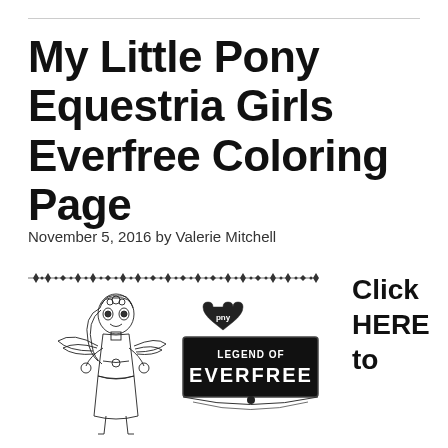My Little Pony Equestria Girls Everfree Coloring Page
November 5, 2016 by Valerie Mitchell
[Figure (illustration): Black and white coloring page illustration of a My Little Pony Equestria Girls character (Fluttershy) in fairy/nature outfit with wings, alongside the 'Legend of Everfree' logo with a pony heart emblem. Decorative border along the top edge of the image.]
Click HERE to